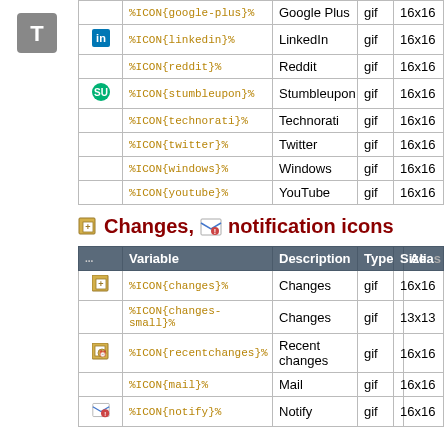|  | Variable | Description | Type | Size |
| --- | --- | --- | --- | --- |
| [T] | %ICON{google-plus}% | Google Plus | gif | 16x16 |
| [linkedin] | %ICON{linkedin}% | LinkedIn | gif | 16x16 |
|  | %ICON{reddit}% | Reddit | gif | 16x16 |
| [stumbleupon] | %ICON{stumbleupon}% | Stumbleupon | gif | 16x16 |
|  | %ICON{technorati}% | Technorati | gif | 16x16 |
|  | %ICON{twitter}% | Twitter | gif | 16x16 |
|  | %ICON{windows}% | Windows | gif | 16x16 |
|  | %ICON{youtube}% | YouTube | gif | 16x16 |
Changes, notification icons
|  | Variable | Description | Type | Size | Alias |
| --- | --- | --- | --- | --- | --- |
| [changes] | %ICON{changes}% | Changes | gif | 16x16 |  |
|  | %ICON{changes-small}% | Changes | gif | 13x13 |  |
| [recentchanges] | %ICON{recentchanges}% | Recent changes | gif | 16x16 |  |
|  | %ICON{mail}% | Mail | gif | 16x16 |  |
| [notify] | %ICON{notify}% | Notify | gif | 16x16 |  |